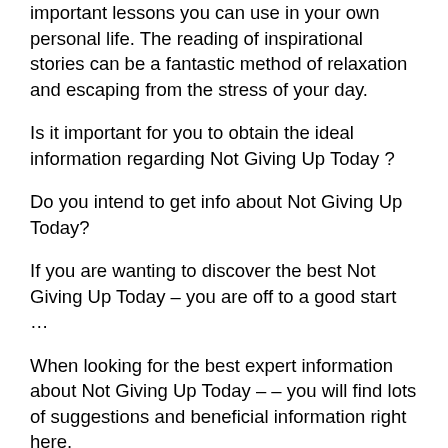important lessons you can use in your own personal life. The reading of inspirational stories can be a fantastic method of relaxation and escaping from the stress of your day.
Is it important for you to obtain the ideal information regarding Not Giving Up Today ?
Do you intend to get info about Not Giving Up Today?
If you are wanting to discover the best Not Giving Up Today – you are off to a good start …
When looking for the best expert information about Not Giving Up Today – – you will find lots of suggestions and beneficial information right here.